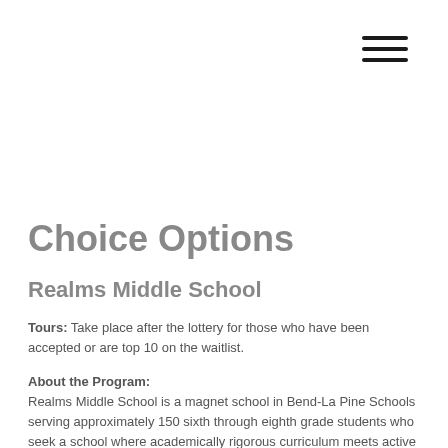[Figure (other): Hamburger menu icon with three horizontal lines in top right corner]
Choice Options
Realms Middle School
Tours: Take place after the lottery for those who have been accepted or are top 10 on the waitlist.
About the Program:
Realms Middle School is a magnet school in Bend-La Pine Schools serving approximately 150 sixth through eighth grade students who seek a school where academically rigorous curriculum meets active teaching methods. Our expanded definition of student achievement, drawn from our work with EL